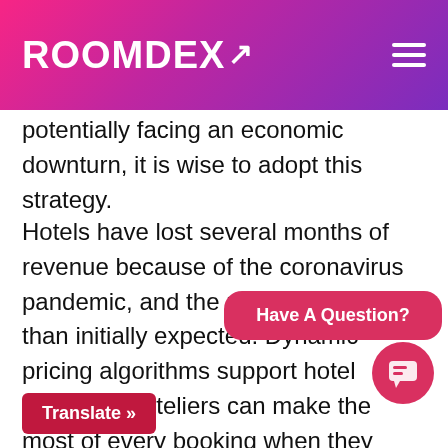ROOMDEX
potentially facing an economic downturn, it is wise to adopt this strategy.
Hotels have lost several months of revenue because of the coronavirus pandemic, and the rebound is slower than initially expected. Dynamic pricing algorithms support hotel recovery. Hoteliers can make the most of every booking when they implement dynamic pricing and it is easy to do so with dynamic hotel pricing software.
Have A Question?
Translate »